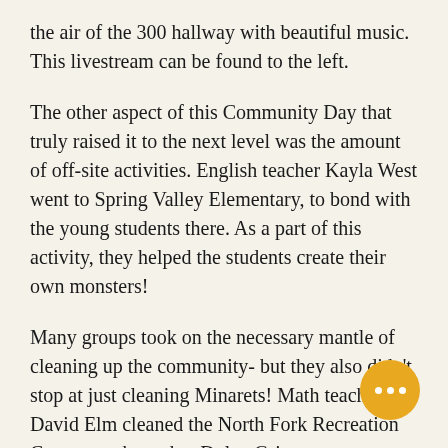the air of the 300 hallway with beautiful music. This livestream can be found to the left.
The other aspect of this Community Day that truly raised it to the next level was the amount of off-site activities. English teacher Kayla West went to Spring Valley Elementary, to bond with the young students there. As a part of this activity, they helped the students create their own monsters!
Many groups took on the necessary mantle of cleaning up the community- but they also didn't stop at just cleaning Minarets! Math teacher David Elm cleaned the North Fork Recreation Center, math teacher Dylan Grimes